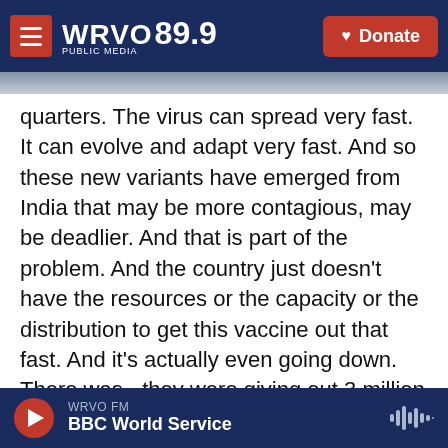[Figure (screenshot): WRVO 89.9 Public Media navigation bar with hamburger menu on the left and Donate button on the right]
quarters. The virus can spread very fast. It can evolve and adapt very fast. And so these new variants have emerged from India that may be more contagious, may be deadlier. And that is part of the problem. And the country just doesn't have the resources or the capacity or the distribution to get this vaccine out that fast. And it's actually even going down. There was - they were giving out 3 million doses a day of the vaccine, which would be a lot in any country, except it's 1.4 billion people. So that's a very small percentage. But now it's dropped. Because of all these lockdowns and
[Figure (screenshot): WRVO FM audio player bar at the bottom showing BBC World Service with play button and waveform icon]